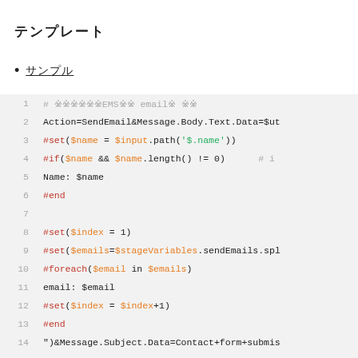テンプレート
サンプル
[Figure (screenshot): Code block showing Velocity template script with line numbers 1-14, featuring syntax highlighting for keywords, variables, strings, and comments.]